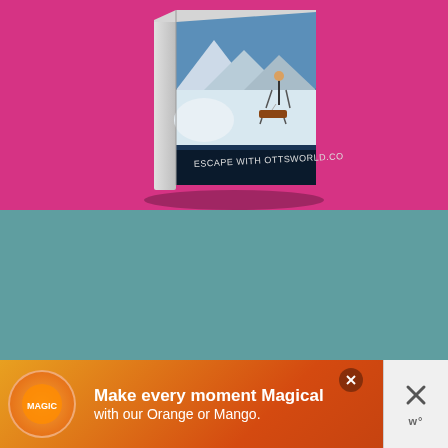[Figure (illustration): A 3D book mockup showing a winter mountain scene with a person and sled. The book spine and cover display 'ESCAPE WITH OTTSWORLD.COM'. Set against a hot pink/magenta background.]
Your first name
Your email address
Country
Send me my FREE guide!
[Figure (infographic): Orange/red advertisement banner: 'Make every moment Magical with our Orange or Mango.' with a music logo circle, close button with X, and a 'w°' watermark logo on the right.]